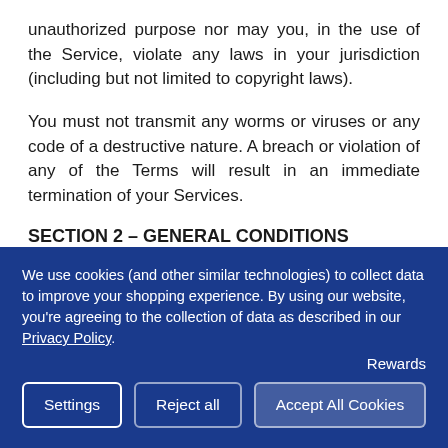unauthorized purpose nor may you, in the use of the Service, violate any laws in your jurisdiction (including but not limited to copyright laws).
You must not transmit any worms or viruses or any code of a destructive nature. A breach or violation of any of the Terms will result in an immediate termination of your Services.
SECTION 2 – GENERAL CONDITIONS
We use cookies (and other similar technologies) to collect data to improve your shopping experience. By using our website, you're agreeing to the collection of data as described in our Privacy Policy.